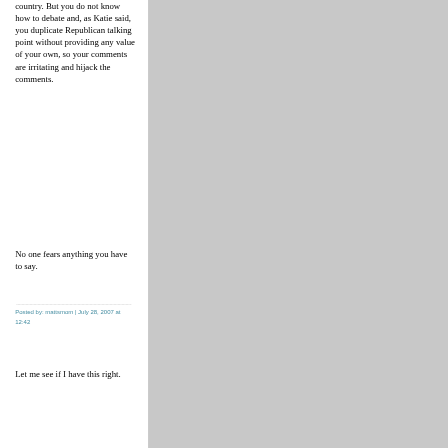country. But you do not know how to debate and, as Katie said, you duplicate Republican talking point without providing any value of your own, so your comments are irritating and hijack the comments.
No one fears anything you have to say.
Posted by: mattsmom | July 28, 2007 at 12:42
Let me see if I have this right.